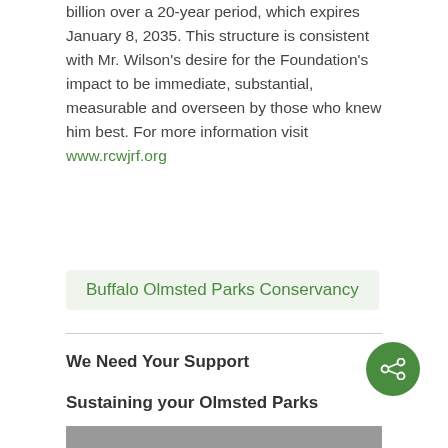billion over a 20-year period, which expires January 8, 2035. This structure is consistent with Mr. Wilson's desire for the Foundation's impact to be immediate, substantial, measurable and overseen by those who knew him best. For more information visit www.rcwjrf.org
Buffalo Olmsted Parks Conservancy
We Need Your Support
Sustaining your Olmsted Parks